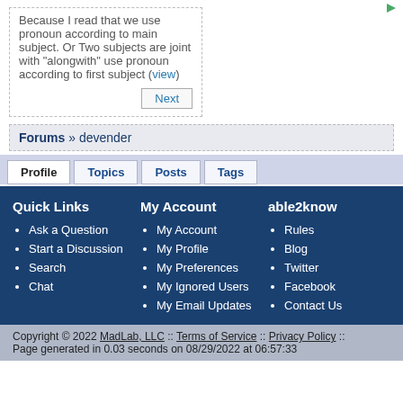Because I read that we use pronoun according to main subject. Or Two subjects are joint with "alongwith" use pronoun according to first subject (view)
Next
Forums » devender
Profile  Topics  Posts  Tags
Quick Links
Ask a Question
Start a Discussion
Search
Chat
My Account
My Account
My Profile
My Preferences
My Ignored Users
My Email Updates
able2know
Rules
Blog
Twitter
Facebook
Contact Us
Copyright © 2022 MadLab, LLC :: Terms of Service :: Privacy Policy :: Page generated in 0.03 seconds on 08/29/2022 at 06:57:33